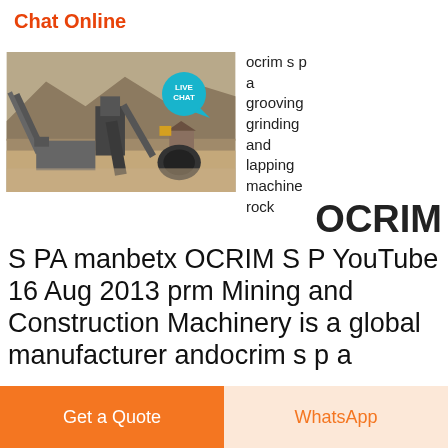Chat Online
[Figure (photo): Outdoor mining/crushing plant with conveyor belts, machinery and hoppers set in a dusty desert landscape with mountains in the background. A 'LIVE CHAT' speech bubble badge overlaps the top-right area of the image.]
ocrim s p a grooving grinding and lapping machine rock
OCRIM S PA manbetx OCRIM S P YouTube 16 Aug 2013 prm Mining and Construction Machinery is a global manufacturer andocrim s p a
Get a Quote
WhatsApp